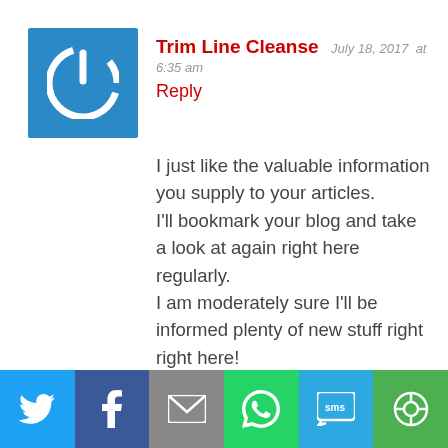[Figure (logo): Blue square avatar with white power button icon]
Trim Line Cleanse  July 18, 2017  at 6:35 am
Reply
I just like the valuable information you supply to your articles.
I'll bookmark your blog and take a look at again right here regularly.
I am moderately sure I'll be informed plenty of new stuff right right here!
Best of luck for the following!
Leave a Reply
[Figure (screenshot): Social sharing bar with Twitter, Facebook, Email, WhatsApp, SMS, and More buttons]